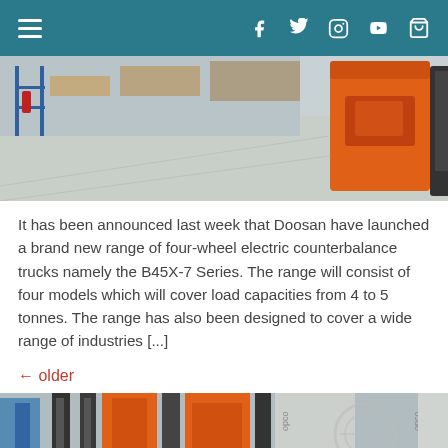Navigation bar with menu, Facebook, Twitter, Instagram, YouTube, cart icons
[Figure (photo): Warehouse interior with orange electric counterbalance forklift truck on concrete floor, shelving in background]
It has been announced last week that Doosan have launched a brand new range of four-wheel electric counterbalance trucks namely the B45X-7 Series.   The range will consist of four models which will cover load capacities from 4 to 5 tonnes.   The range has also been designed to cover a wide range of industries [...]
← older
[Figure (photo): Warehouse interior with multiple orange reach trucks / forklifts lined up, viewed from the front]